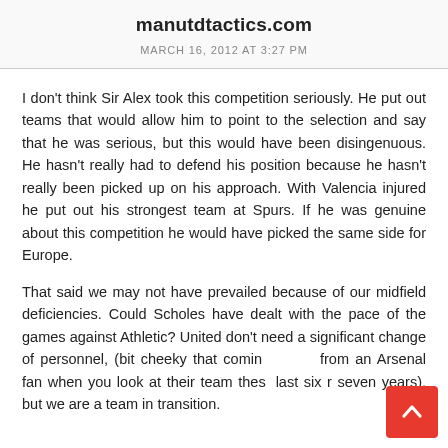manutdtactics.com
MARCH 16, 2012 AT 3:27 PM
I don't think Sir Alex took this competition seriously. He put out teams that would allow him to point to the selection and say that he was serious, but this would have been disingenuous. He hasn't really had to defend his position because he hasn't really been picked up on his approach. With Valencia injured he put out his strongest team at Spurs. If he was genuine about this competition he would have picked the same side for Europe.
That said we may not have prevailed because of our midfield deficiencies. Could Scholes have dealt with the pace of the games against Athletic? United don't need a significant change of personnel, (bit cheeky that coming from an Arsenal fan when you look at their team these last six r seven years), but we are a team in transition.